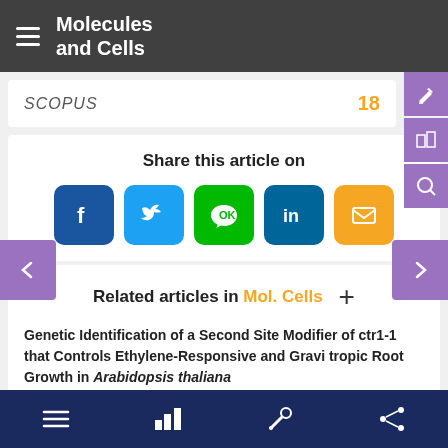Molecules and Cells
SCOPUS  18
Share this article on
[Figure (infographic): Social share buttons: Facebook, Twitter, LINE, LinkedIn, Email]
Related articles in Mol. Cells
Genetic Identification of a Second Site Modifier of ctr1-1 that Controls Ethylene-Responsive and Gravitropic Root Growth in Arabidopsis thaliana
Navigation icons: menu, charts, tools, share